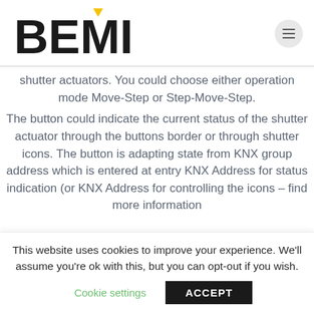BEMI
shutter actuators. You could choose either operation mode Move-Step or Step-Move-Step.
The button could indicate the current status of the shutter actuator through the buttons border or through shutter icons. The button is adapting state from KNX group address which is entered at entry KNX Address for status indication (or KNX Address for controlling the icons – find more information
This website uses cookies to improve your experience. We'll assume you're ok with this, but you can opt-out if you wish.
Cookie settings
ACCEPT